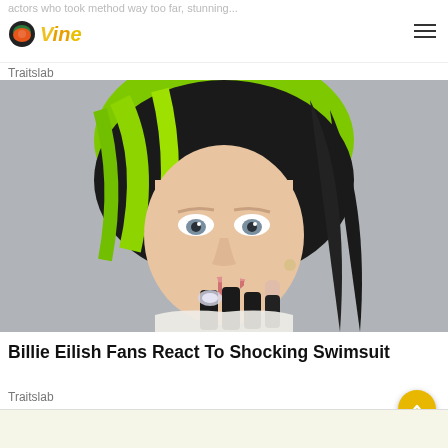Vine
Traitslab
[Figure (photo): Close-up portrait of Billie Eilish with distinctive black and neon green hair, holding her hand with long black nails up near her face, against a blurred gray background]
Billie Eilish Fans React To Shocking Swimsuit
Traitslab